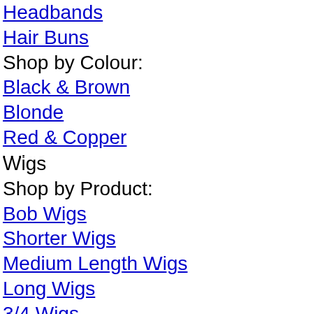Headbands
Hair Buns
Shop by Colour:
Black & Brown
Blonde
Red & Copper
Wigs
Shop by Product:
Bob Wigs
Shorter Wigs
Medium Length Wigs
Long Wigs
3/4 Wigs
Human Hair Wigs
Shop by Colour:
Black & Brown
Blonde
Red & Copper
Bright
Ombre/Dipdye
Hair Care
Shop by Product:
Shampoo
Conditioner
Hair treatments